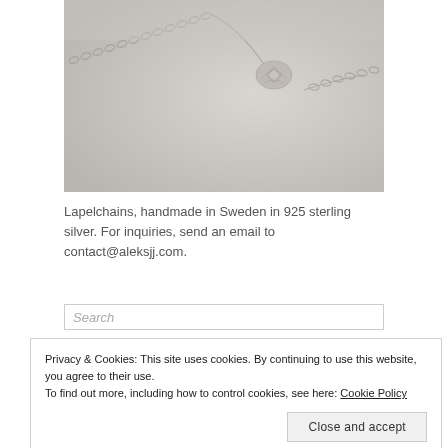[Figure (photo): A silver lapelchain with a rose-shaped pendant, photographed on a light gray background. The chain extends across the image and the floral pendant is in the right-center area.]
Lapelchains, handmade in Sweden in 925 sterling silver. For inquiries, send an email to contact@aleksjj.com.
Search
Privacy & Cookies: This site uses cookies. By continuing to use this website, you agree to their use.
To find out more, including how to control cookies, see here: Cookie Policy
Close and accept